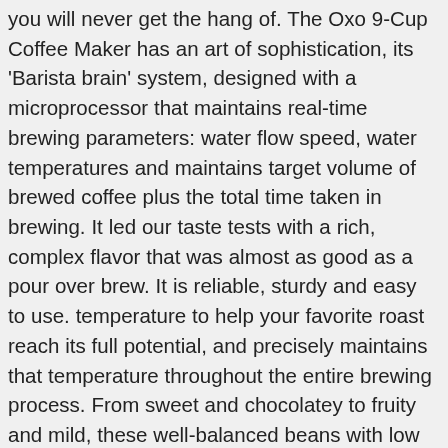you will never get the hang of. The Oxo 9-Cup Coffee Maker has an art of sophistication, its 'Barista brain' system, designed with a microprocessor that maintains real-time brewing parameters: water flow speed, water temperatures and maintains target volume of brewed coffee plus the total time taken in brewing. It led our taste tests with a rich, complex flavor that was almost as good as a pour over brew. It is reliable, sturdy and easy to use. temperature to help your favorite roast reach its full potential, and precisely maintains that temperature throughout the entire brewing process. From sweet and chocolatey to fruity and mild, these well-balanced beans with low acidity and a rounded body are surprising critics around the world. But, if you insist on the good taste, this machine will not disappoint. However, it is also not priced like most other machines on the market. In addition, the thermal carafe keeps its contents hot (above 150 F, 66 C) optimally for a period of around 5 hours and 11 minutes (yes, we are that precise). They should change that saying to: The Oxo of all trades. Finally, press the button at the dial center to start the machine. The timer is set to go for an hour and it is quite